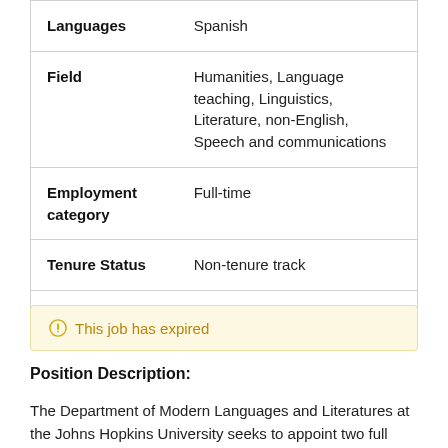| Field | Value |
| --- | --- |
| Languages | Spanish |
| Field | Humanities, Language teaching, Linguistics, Literature, non-English, Speech and communications |
| Employment category | Full-time |
| Tenure Status | Non-tenure track |
| Location | Maryland |
This job has expired
Position Description:
The Department of Modern Languages and Literatures at the Johns Hopkins University seeks to appoint two full